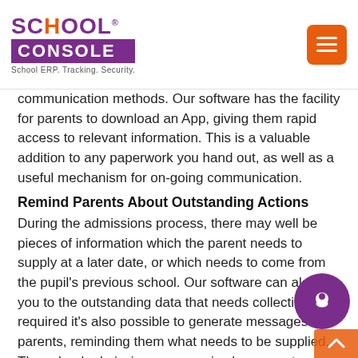SCHOOL CONSOLE — School ERP. Tracking. Security.
communication methods. Our software has the facility for parents to download an App, giving them rapid access to relevant information. This is a valuable addition to any paperwork you hand out, as well as a useful mechanism for on-going communication.
Remind Parents About Outstanding Actions
During the admissions process, there may well be pieces of information which the parent needs to supply at a later date, or which needs to come from the pupil's previous school. Our software can alert you to the outstanding data that needs collecting – if required it's also possible to generate messages to parents, reminding them what needs to be supplied. The school admissions process is also a great opportunity to prompt parents to download the app, as well as stress the benefits it can bring – a good start for a parent-school partnership in every sense.